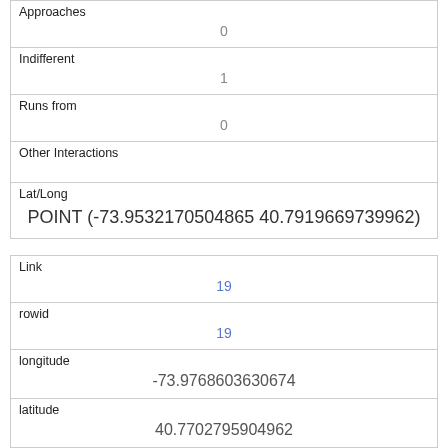| Approaches | 0 |
| Indifferent | 1 |
| Runs from | 0 |
| Other Interactions |  |
| Lat/Long | POINT (-73.9532170504865 40.7919669739962) |
| Link | 19 |
| rowid | 19 |
| longitude | -73.9768603630674 |
| latitude | 40.7702795904962 |
| Unique Squirrel ID | 5C-PM-1010-09 |